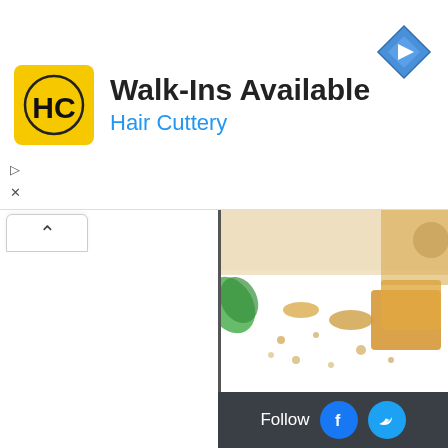[Figure (screenshot): Hair Cuttery advertisement banner with yellow logo, 'Walk-Ins Available' heading, 'Hair Cuttery' subtitle in blue, and blue diamond navigation icon. Ad controls (play/close) on left side.]
[Figure (photo): Partial food photo showing idli dish with crumbs, green leaves, and sauce on white background with www.sw... watermark. Below is a dark red/maroon gradient panel with white bold text: 'Soft spongy idlis coa... mix and tossed in a... of mustard seed...']
[Figure (screenshot): Follow bar at bottom right with dark background, 'Follow' text, Facebook icon (blue circle with f), and Twitter icon (blue circle with bird).]